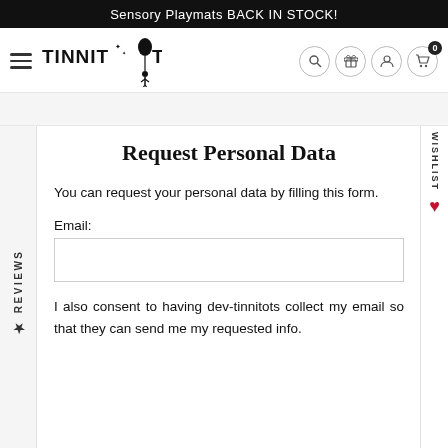Sensory Playmats BACK IN STOCK!
[Figure (logo): TINNITOTS logo with balloon and child figure, navigation bar with hamburger menu, search, gift, account, and cart icons]
Request Personal Data
You can request your personal data by filling this form.
Email:
I also consent to having dev-tinnitots collect my email so that they can send me my requested info.